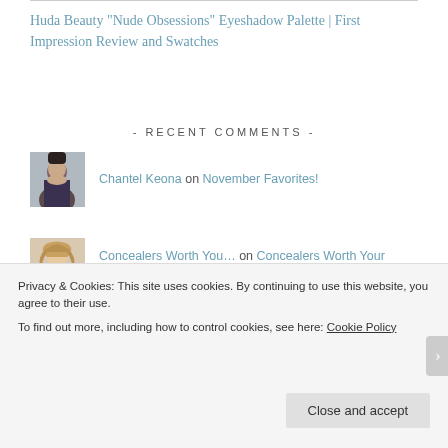Huda Beauty “Nude Obsessions” Eyeshadow Palette | First Impression Review and Swatches
- RECENT COMMENTS -
Chantel Keona on November Favorites!
Concealers Worth You… on Concealers Worth Your Money, H…
oliveunicorn on Where Have I Been? | Life Upda…
Privacy & Cookies: This site uses cookies. By continuing to use this website, you agree to their use.
To find out more, including how to control cookies, see here: Cookie Policy